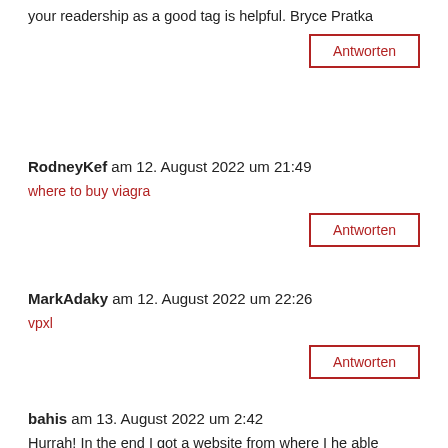your readership as a good tag is helpful. Bryce Pratka
Antworten
RodneyKef am 12. August 2022 um 21:49
where to buy viagra
Antworten
MarkAdaky am 12. August 2022 um 22:26
vpxl
Antworten
bahis am 13. August 2022 um 2:42
Hurrah! In the end I got a website from where I he able